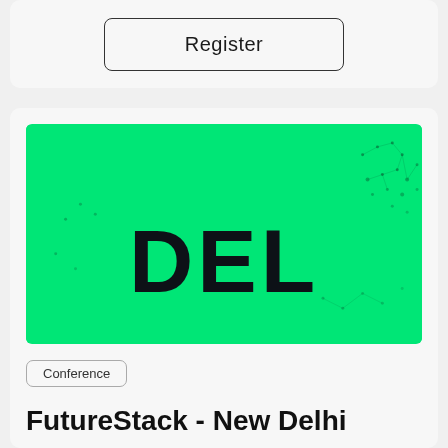Register
[Figure (illustration): Green banner image with bold black text 'DEL' and network/dot pattern decoration in the background, representing the FutureStack New Delhi event.]
Conference
FutureStack - New Delhi